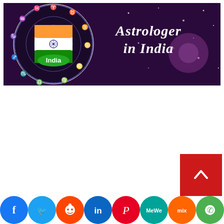[Figure (illustration): Banner image showing a zodiac wheel with Indian flag colors and text 'Astrologer in India' on a purple starry background]
[Figure (infographic): Social media sharing bar at the bottom with icons for Facebook, Twitter, Reddit, LinkedIn, Pinterest, MeWe, Mix, WhatsApp, and Share. Red scroll-to-top button above on the right.]